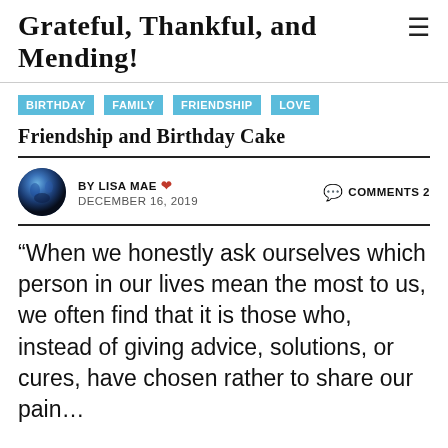Grateful, Thankful, and Mending!
BIRTHDAY
FAMILY
FRIENDSHIP
LOVE
Friendship and Birthday Cake
BY LISA MAE ❤ COMMENTS 2 DECEMBER 16, 2019
“When we honestly ask ourselves which person in our lives mean the most to us, we often find that it is those who, instead of giving advice, solutions, or cures, have chosen rather to share our pain…